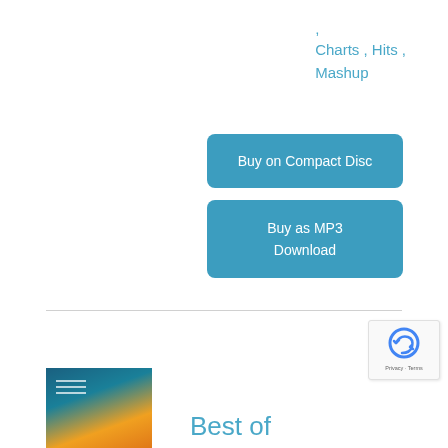, Charts , Hits , Mashup
Buy on Compact Disc
Buy as MP3 Download
[Figure (illustration): Album thumbnail with blue-orange gradient and a 'Best of' text label]
Best of